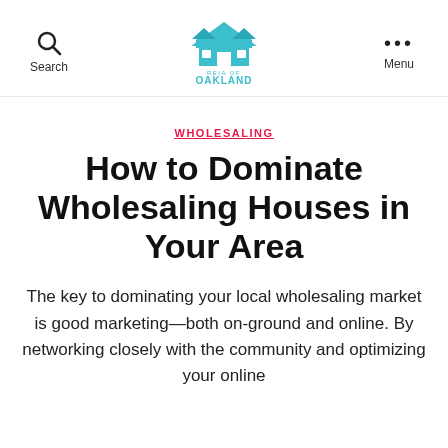Search | REIA OF OAKLAND | Menu
WHOLESALING
How to Dominate Wholesaling Houses in Your Area
The key to dominating your local wholesaling market is good marketing—both on-ground and online. By networking closely with the community and optimizing your online